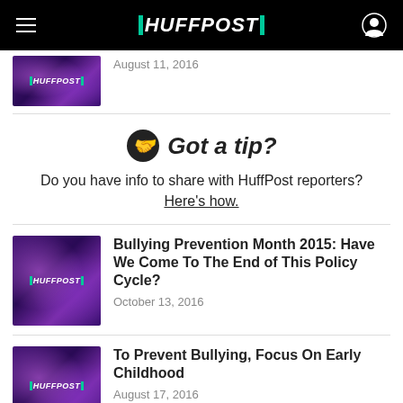HUFFPOST
August 11, 2016
Got a tip?
Do you have info to share with HuffPost reporters? Here's how.
Bullying Prevention Month 2015: Have We Come To The End of This Policy Cycle?
October 13, 2016
To Prevent Bullying, Focus On Early Childhood
August 17, 2016